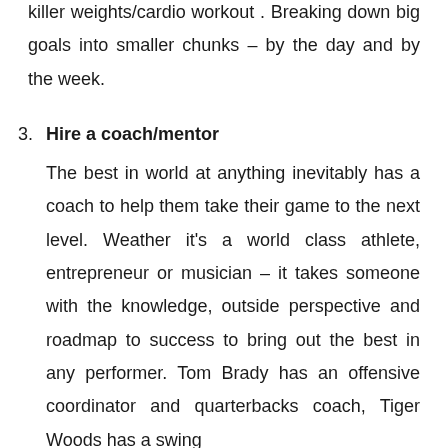killer weights/cardio workout . Breaking down big goals into smaller chunks – by the day and by the week.
3. Hire a coach/mentor
The best in world at anything inevitably has a coach to help them take their game to the next level. Weather it's a world class athlete, entrepreneur or musician – it takes someone with the knowledge, outside perspective and roadmap to success to bring out the best in any performer. Tom Brady has an offensive coordinator and quarterbacks coach, Tiger Woods has a swing